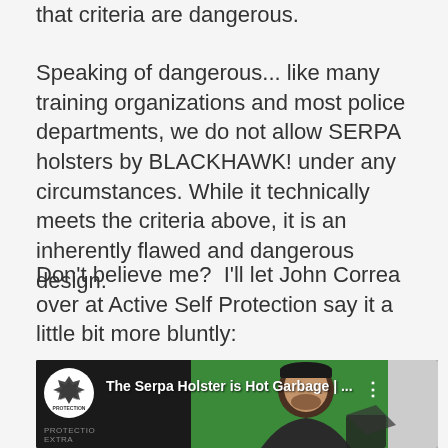that criteria are dangerous.
Speaking of dangerous... like many training organizations and most police departments, we do not allow SERPA holsters by BLACKHAWK! under any circumstances. While it technically meets the criteria above, it is an inherently flawed and dangerous design.
Don't believe me?  I'll let John Correa over at Active Self Protection say it a little bit more bluntly:
[Figure (screenshot): YouTube video thumbnail showing 'The Serpa Holster is Hot Garbage | ...' with a person in front of a green screen background, Active Self Protection logo on left]